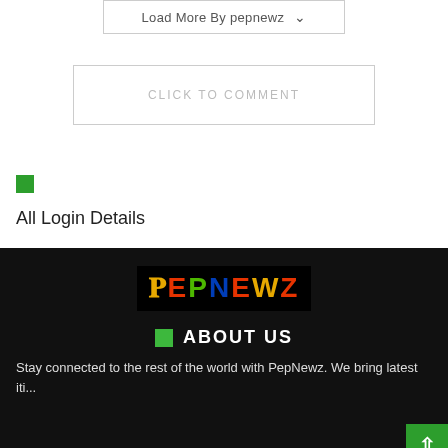Load More By pepnewz ˅
CLICK TO COMMENT
[Figure (other): Small green square icon/bullet]
All Login Details
[Figure (logo): PepNewz colorful logo on black background]
ABOUT US
Stay connected to the rest of the world with PepNewz. We bring lates... iti...